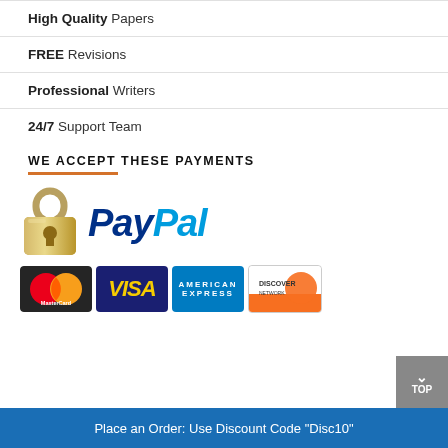High Quality Papers
FREE Revisions
Professional Writers
24/7 Support Team
WE ACCEPT THESE PAYMENTS
[Figure (logo): Payment logos: lock icon, PayPal, MasterCard, VISA, American Express, Discover Network]
Place an Order: Use Discount Code "Disc10"